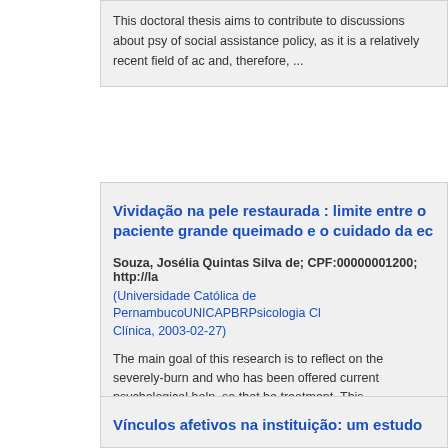This doctoral thesis aims to contribute to discussions about psy of social assistance policy, as it is a relatively recent field of a and, therefore, ...
Vividação na pele restaurada : limite entre o paciente grande queimado e o cuidado da ec
Souza, Josélia Quintas Silva de; CPF:00000001200; http://la
(Universidade Católica de PernambucoUNICAPBRPsicologia Cl Clínica, 2003-02-27)
The main goal of this research is to reflect on the severely-burn and who has been offered current psychological help, so that he treatment. This ...
Vínculos afetivos na instituição: um estudo